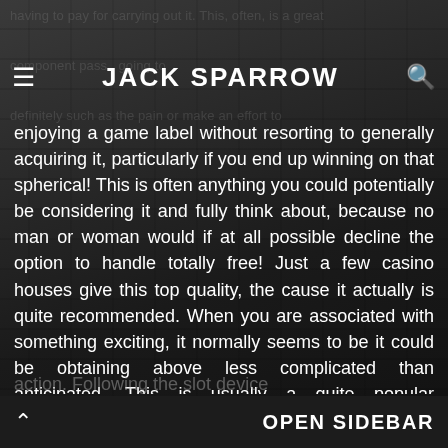JACK SPARROW
enjoying a game label without resorting to generally acquiring it, particularly if you end up winning on that spherical! This is often anything you could potentially be considering it and fully think about, because no man or woman would if at all possible decline the option to handle totally free! Just a few casino houses give this top quality, the cause it actually is quite recommended. When you are associated with something exciting, it normally seems to be it could be obtaining above less complicated than anticipated. This is usually a quite popular discomfort as well as perhaps, it could possibly regularly be the triggers you could discover on your own planning to dedicate much more dollars to be on suffering from and enjoying the
OPEN SIDEBAR